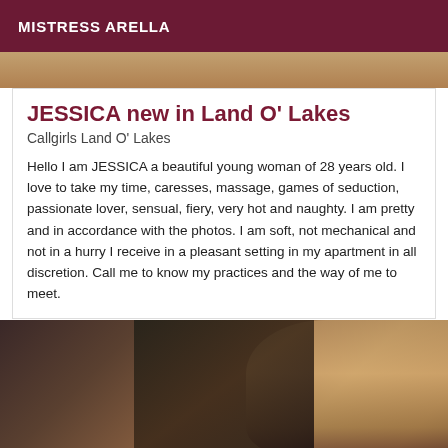MISTRESS ARELLA
[Figure (photo): Top portion of a photo, partially visible, cropped at the top]
JESSICA new in Land O' Lakes
Callgirls Land O' Lakes
Hello I am JESSICA a beautiful young woman of 28 years old. I love to take my time, caresses, massage, games of seduction, passionate lover, sensual, fiery, very hot and naughty. I am pretty and in accordance with the photos. I am soft, not mechanical and not in a hurry I receive in a pleasant setting in my apartment in all discretion. Call me to know my practices and the way of me to meet.
[Figure (photo): Woman with long wavy ombre hair, wearing a black outfit, photographed from behind/side while seated on a dark couch]